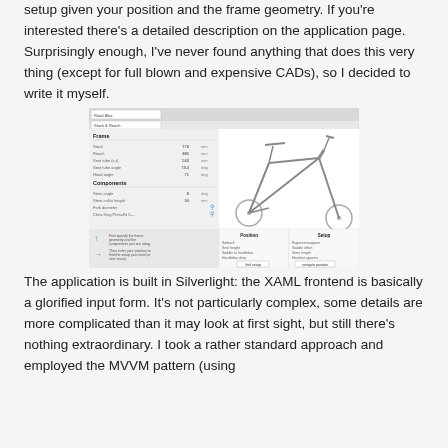setup given your position and the frame geometry. If you're interested there's a detailed description on the application page. Surprisingly enough, I've never found anything that does this very thing (except for full blown and expensive CADs), so I decided to write it myself.
[Figure (screenshot): Screenshot of a bicycle fitting application showing a road bike frame diagram with input fields for frame geometry (Stack, Reach, Seat tube, angles), components (Stem angle, Stem collar height, Fork, Chris King), and position/setup panels at the bottom.]
The application is built in Silverlight: the XAML frontend is basically a glorified input form. It's not particularly complex, some details are more complicated than it may look at first sight, but still there's nothing extraordinary. I took a rather standard approach and employed the MVVM pattern (using